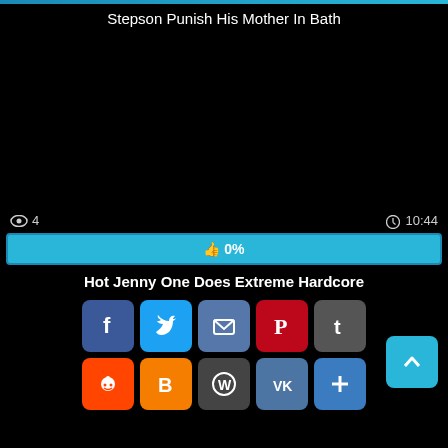Stepson Punish His Mother In Bath
[Figure (other): Black video player area]
4 views  10:44
[Figure (other): Progress bar showing 0% likes]
Hot Jenny One Does Extreme Hardcore
[Figure (other): Social share buttons: Facebook, Twitter, Email, Pinterest, Tumblr, Reddit, Blogger, WordPress, VK, Add]